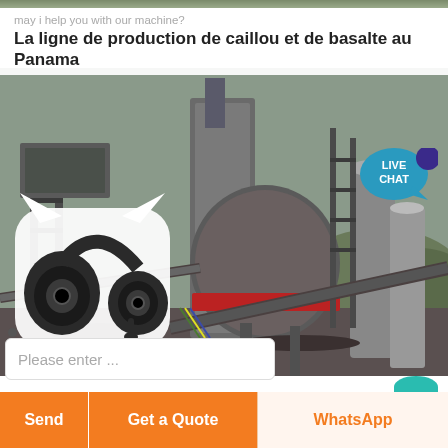may i help you with our machine?
La ligne de production de caillou et de basalte au Panama
[Figure (photo): Industrial stone/basalt production line facility in Panama showing large crushers, conveyor belts, silos and heavy machinery]
Please enter ...
Send
Get a Quote
WhatsApp